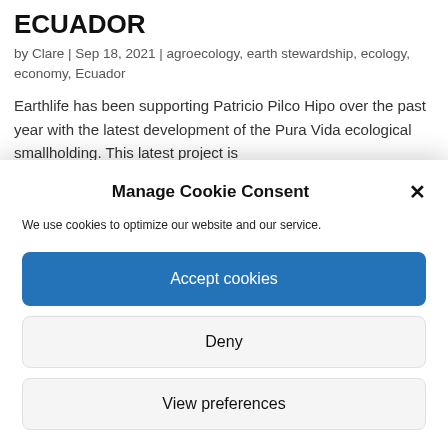ECUADOR
by Clare | Sep 18, 2021 | agroecology, earth stewardship, ecology, economy, Ecuador
Earthlife has been supporting Patricio Pilco Hipo over the past year with the latest development of the Pura Vida ecological smallholding. This latest project is
Manage Cookie Consent
We use cookies to optimize our website and our service.
Accept cookies
Deny
View preferences